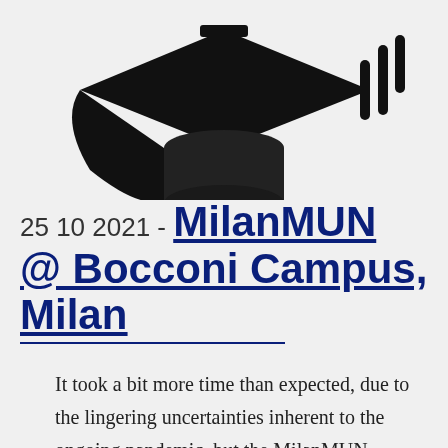[Figure (illustration): Partial view of a black silhouette of a graduation cap with motion lines, on a light grey background. Only the lower portion is visible, cropped at the top of the page.]
25 10 2021 - MilanMUN @ Bocconi Campus, Milan
It took a bit more time than expected, due to the lingering uncertainties inherent to the ongoing pandemic, but the MilanMUN team is back with some big updates. We are